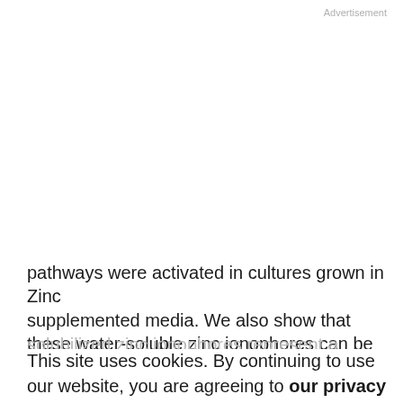Advertisement
pathways were activated in cultures grown in Zinc supplemented media. We also show that these water-soluble zinc ionophores can be given to mice at 100 μmol/kg (300 μmol/m²) with no observable toxicity and inhibit the growth of A549 lung and PC3 prostate cancer cells grown in xenograft models. Gene expression profiles of tumor specimens harvested from mice 4 h after treatment confirmed the in vivo activation of MTF-1–responsive genes. Overall, we propose that water-solubilized zinc ionophores represent a potential new
This site uses cookies. By continuing to use our website, you are agreeing to our privacy policy.
Accept